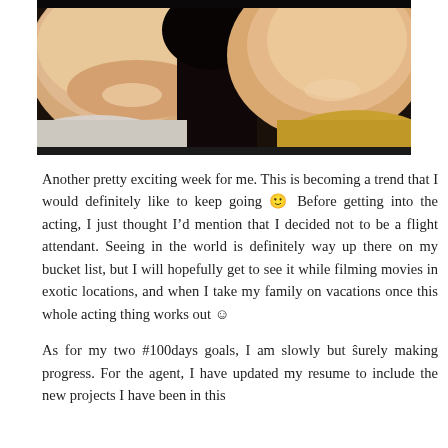[Figure (photo): A photo of two smiling women close together. The woman on the left has lighter hair and is wearing a white top. The woman on the right has dark hair and is wearing a yellow/gold scarf.]
Another pretty exciting week for me. This is becoming a trend that I would definitely like to keep going 🙂 Before getting into the acting, I just thought I'd mention that I decided not to be a flight attendant. Seeing in the world is definitely way up there on my bucket list, but I will hopefully get to see it while filming movies in exotic locations, and when I take my family on vacations once this whole acting thing works out ☺
As for my two #100days goals, I am slowly but surely making progress. For the agent, I have updated my resume to include the new projects I have been in this